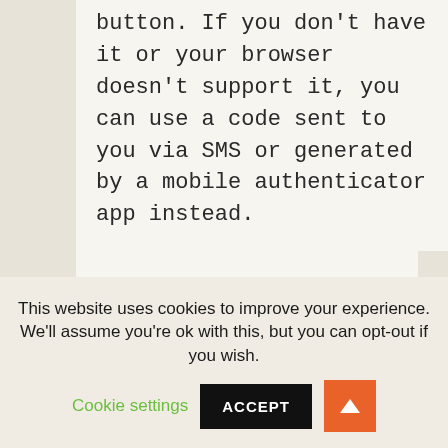button. If you don't have it or your browser doesn't support it, you can use a code sent to you via SMS or generated by a mobile authenticator app instead.
This website uses cookies to improve your experience. We'll assume you're ok with this, but you can opt-out if you wish. Cookie settings ACCEPT